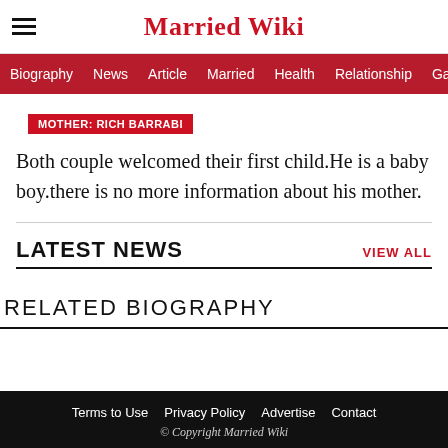Married Wiki
Biography | News | Article | Married | Health | Relationship | Ga
MOTHER: RICH BARRABI
Both couple welcomed their first child.He is a baby boy.there is no more information about his mother.
LATEST NEWS
VIEW ALL
RELATED BIOGRAPHY
Terms to Use | Privacy Policy | Advertise | Contact | © Copyright Married Wiki